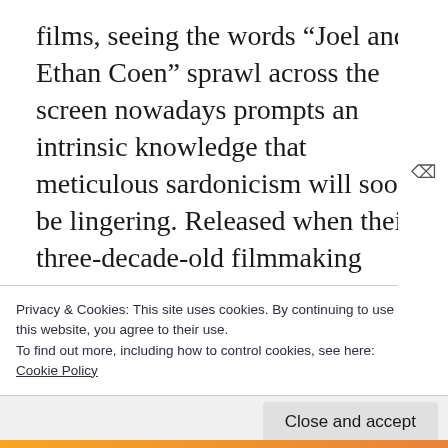films, seeing the words “Joel and Ethan Coen” sprawl across the screen nowadays prompts an intrinsic knowledge that meticulous sardonicism will soon be lingering. Released when their three-decade-old filmmaking odyssey was eighteen years younger, Fargo might just be the sibling duo’s most complete diamond of irony. Some films might be more wholesome in their flippant ideology, for example O Brother, Where Art Thou? and its gaper, essay comedic quality, whereas others
Privacy & Cookies: This site uses cookies. By continuing to use this website, you agree to their use.
To find out more, including how to control cookies, see here: Cookie Policy
Close and accept